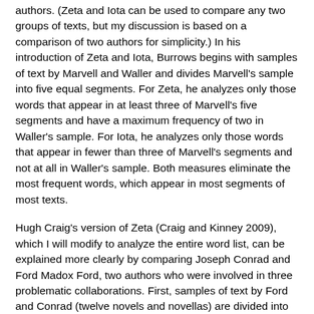authors. (Zeta and Iota can be used to compare any two groups of texts, but my discussion is based on a comparison of two authors for simplicity.) In his introduction of Zeta and Iota, Burrows begins with samples of text by Marvell and Waller and divides Marvell's sample into five equal segments. For Zeta, he analyzes only those words that appear in at least three of Marvell's five segments and have a maximum frequency of two in Waller's sample. For Iota, he analyzes only those words that appear in fewer than three of Marvell's segments and not at all in Waller's sample. Both measures eliminate the most frequent words, which appear in most segments of most texts.
Hugh Craig's version of Zeta (Craig and Kinney 2009), which I will modify to analyze the entire word list, can be explained more clearly by comparing Joseph Conrad and Ford Madox Ford, two authors who were involved in three problematic collaborations. First, samples of text by Ford and Conrad (twelve novels and novellas) are divided into equal-sized segments, here 3,000 words, 132 segments by Conrad and 131 by Ford. Zeta is calculated for each word by counting how many segments by each author contain the word and adding the percentage of Conrad's segments in which the word